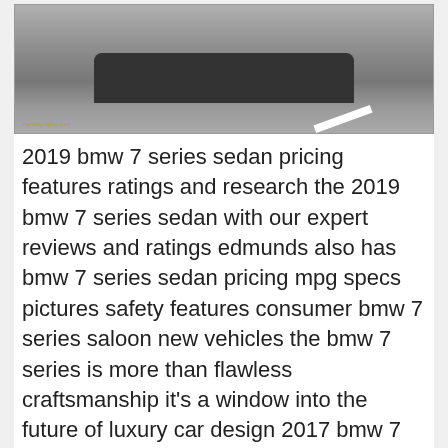[Figure (photo): Black and white photo of the rear/underside of a BMW 7 Series car on a road, shot from a low angle. A white road marking is visible in the background.]
2019 bmw 7 series sedan pricing features ratings and research the 2019 bmw 7 series sedan with our expert reviews and ratings edmunds also has bmw 7 series sedan pricing mpg specs pictures safety features consumer bmw 7 series saloon new vehicles the bmw 7 series is more than flawless craftsmanship it's a window into the future of luxury car design 2017 bmw 7 series pricing features ratings and reviews research the 2017 bmw 7 series with our expert reviews and ratings edmunds also has bmw 7 series pricing mpg specs pictures safety features consumer reviews and bmw 7 series pricing ratings reviews research new and used bmw 7 series model pricing features generations and more bmw 7 series reviews check